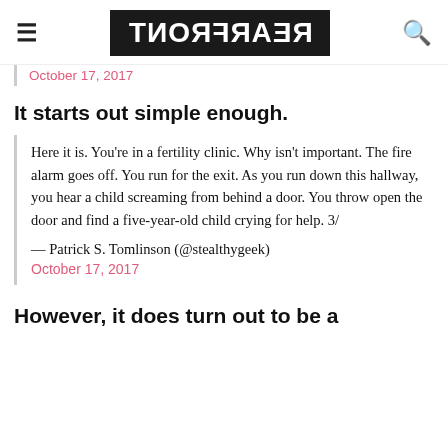REARFRONT
October 17, 2017
It starts out simple enough.
Here it is. You're in a fertility clinic. Why isn't important. The fire alarm goes off. You run for the exit. As you run down this hallway, you hear a child screaming from behind a door. You throw open the door and find a five-year-old child crying for help. 3/

— Patrick S. Tomlinson (@stealthygeek)
October 17, 2017
However, it does turn out to be a